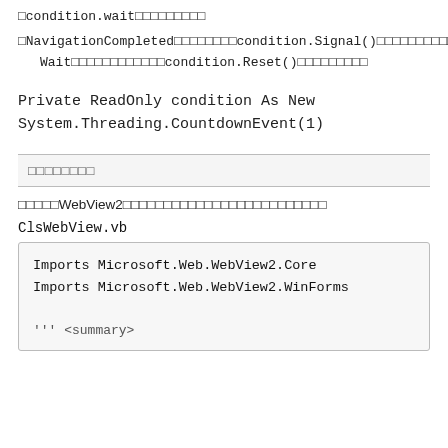condition.wait（待機します）
NavigationCompletedイベントでcondition.Signal()を呼び出してWaitを解除し、condition.Reset()を呼び出します
Private ReadOnly condition As New System.Threading.CountdownEvent(1)
サンプルコード
次のコードはWebView2コントロールを使用する方法を示しています
ClsWebView.vb
Imports Microsoft.Web.WebView2.Core
Imports Microsoft.Web.WebView2.WinForms

''' <summary>